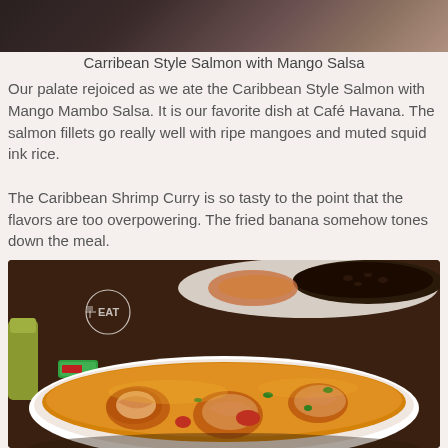[Figure (photo): Partial photo of food at top of page, dark background]
Carribean Style Salmon with Mango Salsa
Our palate rejoiced as we ate the Caribbean Style Salmon with Mango Mambo Salsa. It is our favorite dish at Café Havana. The salmon fillets go really well with ripe mangoes and muted squid ink rice.
The Caribbean Shrimp Curry is so tasty to the point that the flavors are too overpowering. The fried banana somehow tones down the meal.
[Figure (photo): Photo of Caribbean Shrimp Curry in a white oval bowl, golden orange curry with shrimp visible, dark rice and another dish in background, watermark EAT in upper left]